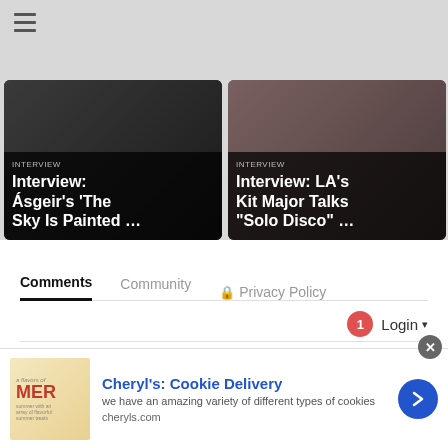Navigation menu (hamburger icon)
[Figure (screenshot): Two article preview cards side by side. Left card: 'Interview: Ásgeir's The Sky Is Painted ...' on dark background. Right card: 'Interview: LA's Kit Major Talks "Solo Disco" ...' on dark background with woman photo.]
Comments | Community | Privacy Policy
Login ▼
♡ Favorite   Sort by Best ▼
Start the discussion…
[Figure (screenshot): Advertisement banner for Cheryl's Cookie Delivery. Ad image shows summer cookie treats. Text: 'Cheryl's: Cookie Delivery', 'we have an amazing variety of different types of cookies', 'cheryls.com'. Blue arrow button on right.]